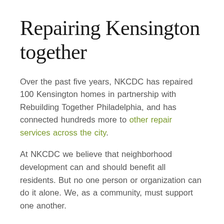Repairing Kensington together
Over the past five years, NKCDC has repaired 100 Kensington homes in partnership with Rebuilding Together Philadelphia, and has connected hundreds more to other repair services across the city.
At NKCDC we believe that neighborhood development can and should benefit all residents. But no one person or organization can do it alone. We, as a community, must support one another.
In addition to receiving repairs, Mr. Gentry volunteered at a two-day Block Build to help fix